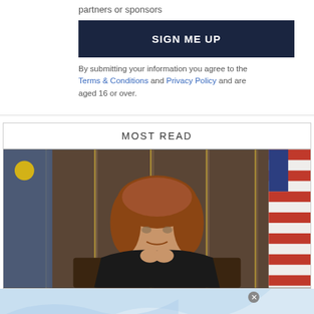partners or sponsors
SIGN ME UP
By submitting your information you agree to the Terms & Conditions and Privacy Policy and are aged 16 or over.
MOST READ
[Figure (photo): Woman with curly auburn hair dressed in a judge's robe, seated in what appears to be a courtroom with an American flag and a state flag in the background.]
Top Junior Gold Mining Stock  Get access to the next Top mining "Micro Cap" here!  EXPLORE NOW